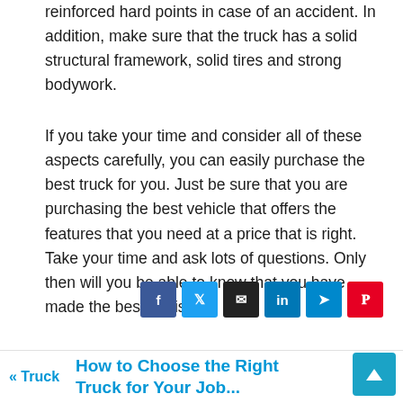reinforced hard points in case of an accident. In addition, make sure that the truck has a solid structural framework, solid tires and strong bodywork.
If you take your time and consider all of these aspects carefully, you can easily purchase the best truck for you. Just be sure that you are purchasing the best vehicle that offers the features that you need at a price that is right. Take your time and ask lots of questions. Only then will you be able to know that you have made the best decision.
[Figure (other): Social sharing buttons: Facebook (blue), Twitter (light blue), Email (black), LinkedIn (dark blue), Telegram (blue), Pinterest (red)]
« Truck   How to Choose the Right Truck for Your Job...